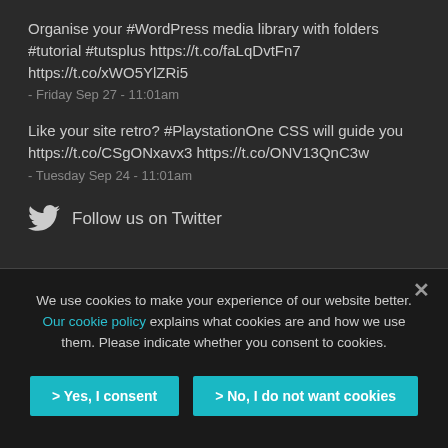Organise your #WordPress media library with folders #tutorial #tutsplus https://t.co/faLqDvtFn7 https://t.co/xWO5YlZRi5
- Friday Sep 27 - 11:01am
Like your site retro? #PlaystationOne CSS will guide you https://t.co/CSgONxavx3 https://t.co/ONV13QnC3w
- Tuesday Sep 24 - 11:01am
Follow us on Twitter
We use cookies to make your experience of our website better. Our cookie policy explains what cookies are and how we use them. Please indicate whether you consent to cookies.
> Yes, I consent
> No, I do not want cookies